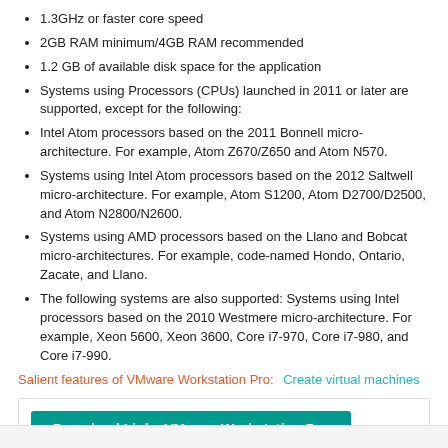1.3GHz or faster core speed
2GB RAM minimum/4GB RAM recommended
1.2 GB of available disk space for the application
Systems using Processors (CPUs) launched in 2011 or later are supported, except for the following:
Intel Atom processors based on the 2011 Bonnell micro-architecture. For example, Atom Z670/Z650 and Atom N570.
Systems using Intel Atom processors based on the 2012 Saltwell micro-architecture. For example, Atom S1200, Atom D2700/D2500, and Atom N2800/N2600.
Systems using AMD processors based on the Llano and Bobcat micro-architectures. For example, code-named Hondo, Ontario, Zacate, and Llano.
The following systems are also supported: Systems using Intel processors based on the 2010 Westmere micro-architecture. For example, Xeon 5600, Xeon 3600, Core i7-970, Core i7-980, and Core i7-990.
Salient features of VMware Workstation Pro:   Create virtual machines
Download Links VMware Workstation Pro